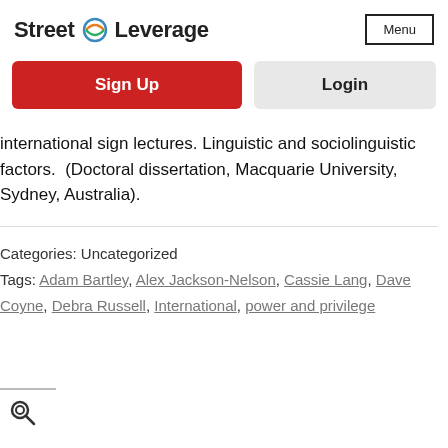Street Leverage   Menu
Sign Up   Login
international sign lectures. Linguistic and sociolinguistic factors.  (Doctoral dissertation, Macquarie University, Sydney, Australia).
Categories: Uncategorized
Tags: Adam Bartley, Alex Jackson-Nelson, Cassie Lang, Dave Coyne, Debra Russell, International, power and privilege